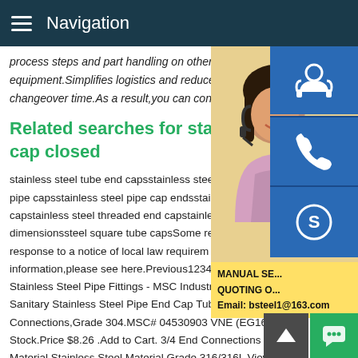Navigation
process steps and part handling on other equipment.Simplifies logistics and reduces changeover time.As a result,you can confi
Related searches for stainless cap closed
stainless steel tube end capsstainless steel pipe capsstainless steel pipe cap endsstainless capstainless steel threaded end capstainless dimensionssteel square tube capsSome response to a notice of local law requirements information,please see here.Previous123456NextSanitary Stainless Steel Pipe Fittings - MSC Industrial Supply2 Clamp Style Sanitary Stainless Steel Pipe End Cap Tube OD Connections,Grade 304.MSC# 04530903 VNE (EG16A2.0) In Stock.Price $8.26 .Add to Cart. 3/4 End Connections Tube OD Material Stainless Steel Material Grade 316/316L View Produ
[Figure (photo): Customer service representative woman with headset, overlaid with blue icon buttons (headset/support, phone, Skype) and a yellow contact box showing MANUAL SE... QUOTING O... Email: bsteel1@163.com]
MANUAL SE... QUOTING O... Email: bsteel1@163.com